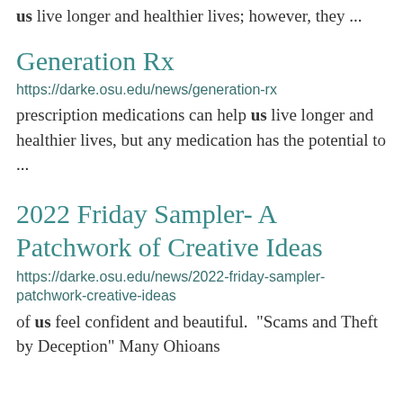us live longer and healthier lives; however, they ...
Generation Rx
https://darke.osu.edu/news/generation-rx
prescription medications can help us live longer and healthier lives, but any medication has the potential to ...
2022 Friday Sampler- A Patchwork of Creative Ideas
https://darke.osu.edu/news/2022-friday-sampler-patchwork-creative-ideas
of us feel confident and beautiful.  “Scams and Theft by Deception” Many Ohioans